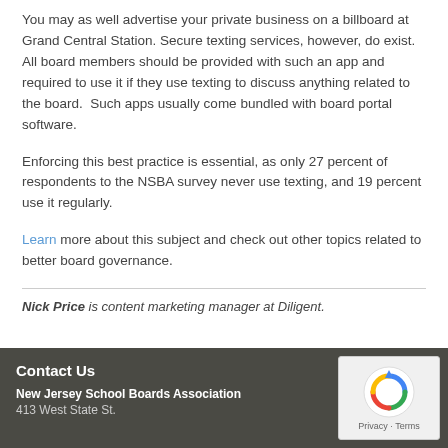You may as well advertise your private business on a billboard at Grand Central Station. Secure texting services, however, do exist.  All board members should be provided with such an app and required to use it if they use texting to discuss anything related to the board.  Such apps usually come bundled with board portal software.
Enforcing this best practice is essential, as only 27 percent of respondents to the NSBA survey never use texting, and 19 percent use it regularly.
Learn more about this subject and check out other topics related to better board governance.
Nick Price is content marketing manager at Diligent.
Contact Us
New Jersey School Boards Association
413 West State St.
[Figure (other): reCAPTCHA widget with Privacy and Terms labels]